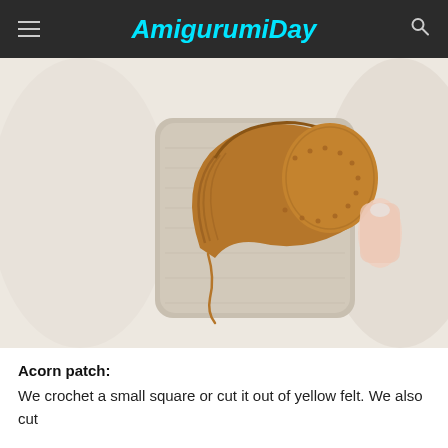AmigurumiDay
[Figure (photo): A crocheted golden-brown croissant-shaped amigurumi piece held in a hand against a fluffy white background, with a trailing yarn end.]
Acorn patch:
We crochet a small square or cut it out of yellow felt. We also cut